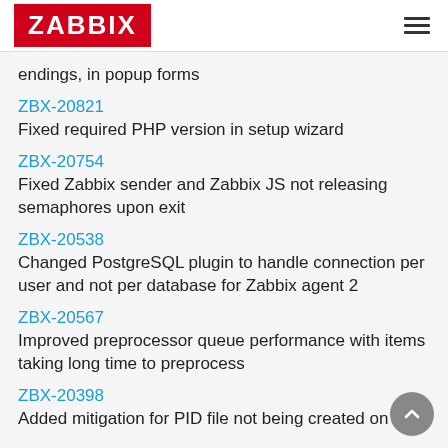ZABBIX
endings, in popup forms
ZBX-20821
Fixed required PHP version in setup wizard
ZBX-20754
Fixed Zabbix sender and Zabbix JS not releasing semaphores upon exit
ZBX-20538
Changed PostgreSQL plugin to handle connection per user and not per database for Zabbix agent 2
ZBX-20567
Improved preprocessor queue performance with items taking long time to preprocess
ZBX-20398
Added mitigation for PID file not being created on